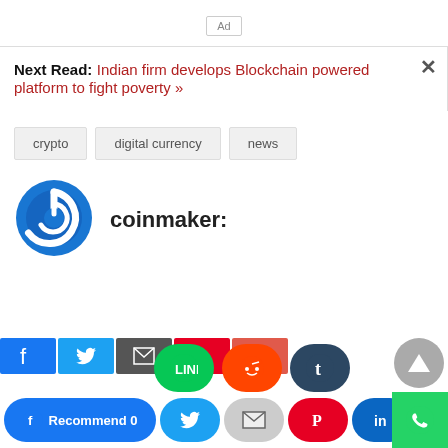Ad
Next Read: Indian firm develops Blockchain powered platform to fight poverty »
crypto
digital currency
news
coinmaker:
[Figure (logo): coinmaker circular power-button logo in blue]
[Figure (screenshot): Social share bar with Facebook Recommend, Twitter, email, Pinterest, LinkedIn, Line, Reddit, Tumblr buttons; back to top arrow; WhatsApp button]